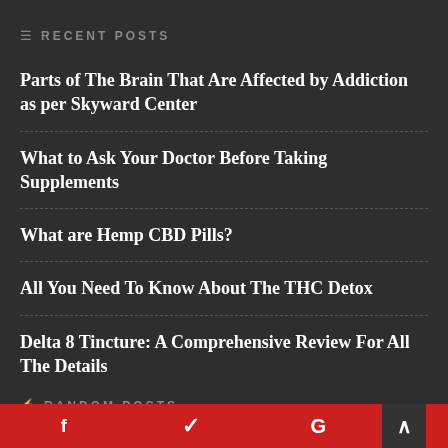≡ RECENT POSTS
Parts of The Brain That Are Affected by Addiction as per Skyward Center
What to Ask Your Doctor Before Taking Supplements
What are Hemp CBD Pills?
All You Need To Know About The THC Detox
Delta 8 Tincture: A Comprehensive Review For All The Details
✿ RANDOM POSTS
f   ✓   G   ∧